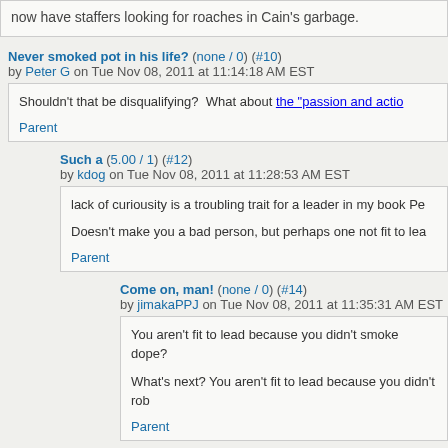now have staffers looking for roaches in Cain's garbage.
Never smoked pot in his life? (none / 0) (#10) by Peter G on Tue Nov 08, 2011 at 11:14:18 AM EST
Shouldn't that be disqualifying? What about the "passion and actio...
Parent
Such a (5.00 / 1) (#12) by kdog on Tue Nov 08, 2011 at 11:28:53 AM EST
lack of curiousity is a troubling trait for a leader in my book Pe...
Doesn't make you a bad person, but perhaps one not fit to lea...
Parent
Come on, man! (none / 0) (#14) by jimakaPPJ on Tue Nov 08, 2011 at 11:35:31 AM EST
You aren't fit to lead because you didn't smoke dope?
What's next? You aren't fit to lead because you didn't rob...
Parent
Not smoking dope is fine... (none / 0) (#16)